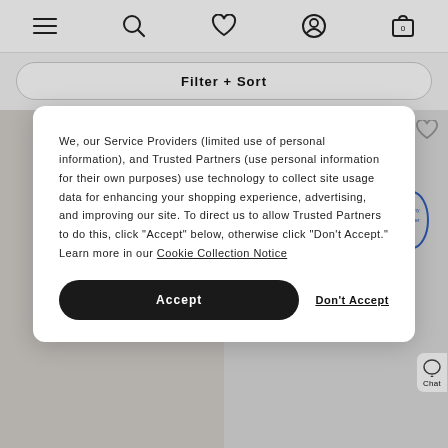Navigation bar with menu, search, wishlist, account, and cart (0) icons
Filter + Sort
[Figure (screenshot): Two product images side by side showing male models wearing shirts, with heart/wishlist icons on each]
We, our Service Providers (limited use of personal information), and Trusted Partners (use personal information for their own purposes) use technology to collect site usage data for enhancing your shopping experience, advertising, and improving our site. To direct us to allow Trusted Partners to do this, click “Accept” below, otherwise click “Don’t Accept.” Learn more in our Cookie Collection Notice
Accept
Don't Accept